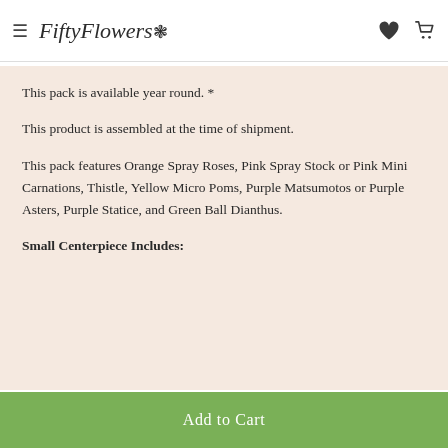FiftyFlowers
This pack is available year round. *
This product is assembled at the time of shipment.
This pack features Orange Spray Roses, Pink Spray Stock or Pink Mini Carnations, Thistle, Yellow Micro Poms, Purple Matsumotos or Purple Asters, Purple Statice, and Green Ball Dianthus.
Small Centerpiece Includes:
Add to Cart